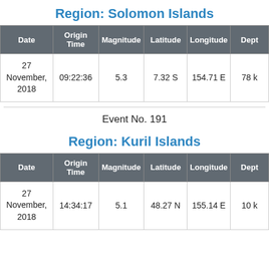Region: Solomon Islands
| Date | Origin Time | Magnitude | Latitude | Longitude | Depth |
| --- | --- | --- | --- | --- | --- |
| 27 November, 2018 | 09:22:36 | 5.3 | 7.32 S | 154.71 E | 78 k |
Event No. 191
Region: Kuril Islands
| Date | Origin Time | Magnitude | Latitude | Longitude | Depth |
| --- | --- | --- | --- | --- | --- |
| 27 November, 2018 | 14:34:17 | 5.1 | 48.27 N | 155.14 E | 10 k |